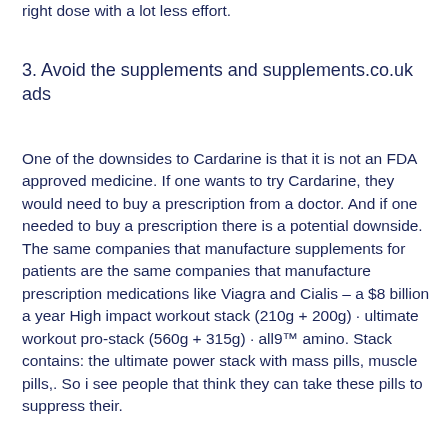right dose with a lot less effort.
3. Avoid the supplements and supplements.co.uk ads
One of the downsides to Cardarine is that it is not an FDA approved medicine. If one wants to try Cardarine, they would need to buy a prescription from a doctor. And if one needed to buy a prescription there is a potential downside. The same companies that manufacture supplements for patients are the same companies that manufacture prescription medications like Viagra and Cialis – a $8 billion a year High impact workout stack (210g + 200g) · ultimate workout pro-stack (560g + 315g) · all9™ amino. Stack contains: the ultimate power stack with mass pills, muscle pills,. So i see people that think they can take these pills to suppress their.